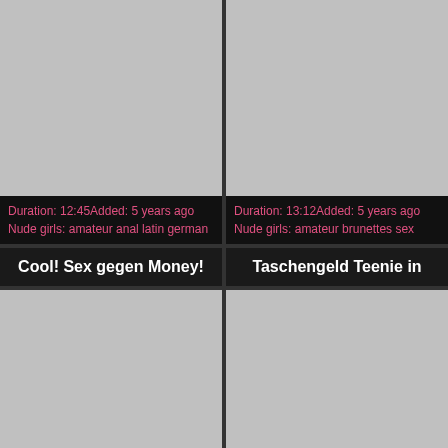[Figure (photo): Gray placeholder thumbnail top-left]
[Figure (photo): Gray placeholder thumbnail top-right]
Duration: 12:45Added: 5 years ago
Nude girls: amateur anal latin german
Duration: 13:12Added: 5 years ago
Nude girls: amateur brunettes sex
Cool! Sex gegen Money!
Taschengeld Teenie in
[Figure (photo): Gray placeholder thumbnail bottom-left]
[Figure (photo): Gray placeholder thumbnail bottom-right]